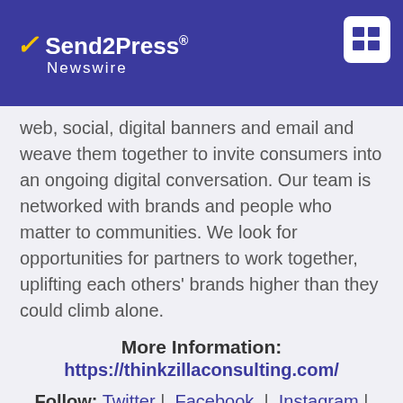Send2Press Newswire
web, social, digital banners and email and weave them together to invite consumers into an ongoing digital conversation. Our team is networked with brands and people who matter to communities. We look for opportunities for partners to work together, uplifting each others' brands higher than they could climb alone.
More Information: https://thinkzillaconsulting.com/
Follow: Twitter | Facebook | Instagram | LinkedIn
RSS News Feed for ThinkZILLA